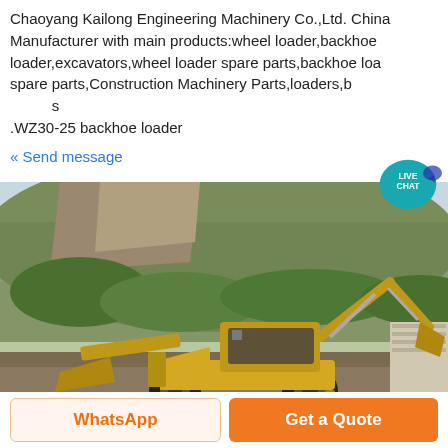Chaoyang Kailong Engineering Machinery Co.,Ltd. China Manufacturer with main products:wheel loader,backhoe loader,excavators,wheel loader spare parts,backhoe loader spare parts,Construction Machinery Parts,loaders,b...s .WZ30-25 backhoe loader
« Send message
[Figure (photo): Yellow backhoe loader (WZ30-25) parked outdoors on a dirt area in front of a green hillside with vegetation and a grey cloudy sky. The machine has a front loader bucket on the left and a backhoe arm raised on the right.]
WhatsApp
Get a Quote